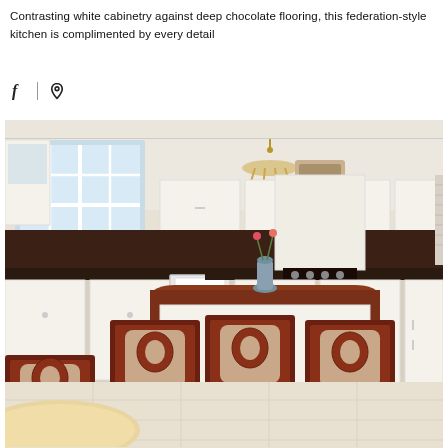Contrasting white cabinetry against deep chocolate flooring, this federation-style kitchen is complimented by every detail
[Figure (photo): Interior photograph of a federation-style kitchen with white cabinetry, dark mosaic tile backsplash, dark wooden dining chairs and table island, chandelier, and light tile floor.]